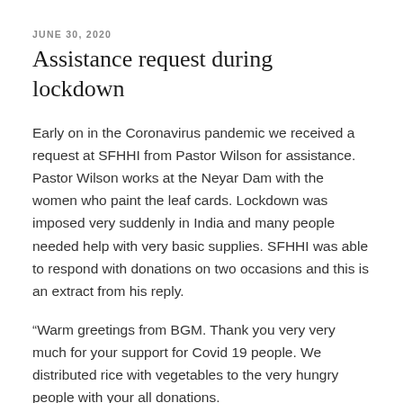JUNE 30, 2020
Assistance request during lockdown
Early on in the Coronavirus pandemic we received a request at SFHHI from Pastor Wilson for assistance. Pastor Wilson works at the Neyar Dam with the women who paint the leaf cards. Lockdown was imposed very suddenly in India and many people needed help with very basic supplies. SFHHI was able to respond with donations on two occasions and this is an extract from his reply.
“Warm greetings from BGM. Thank you very very much for your support for Covid 19 people. We distributed rice with vegetables to the very hungry people with your all donations.
Thanks you very much . After some people receive things